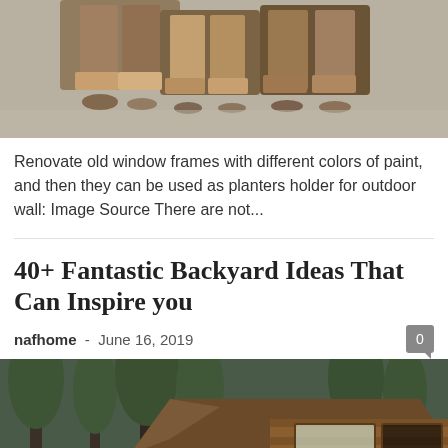[Figure (photo): Top cropped image of old wooden window frames painted with different colors used as planter holders]
Renovate old window frames with different colors of paint, and then they can be used as planters holder for outdoor wall: Image Source There are not...
40+ Fantastic Backyard Ideas That Can Inspire you
nafhome - June 16, 2019
[Figure (photo): Modern wooden cabin backyard with outdoor seating area, fire pit, and forest backdrop]